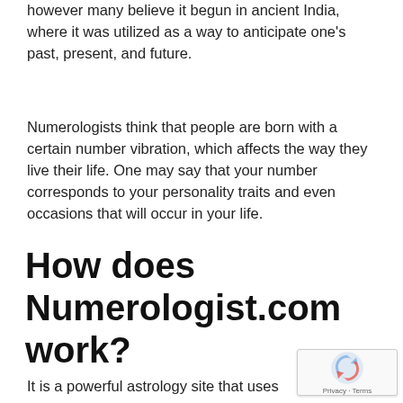however many believe it begun in ancient India, where it was utilized as a way to anticipate one's past, present, and future.
Numerologists think that people are born with a certain number vibration, which affects the way they live their life. One may say that your number corresponds to your personality traits and even occasions that will occur in your life.
How does Numerologist.com work?
It is a powerful astrology site that uses